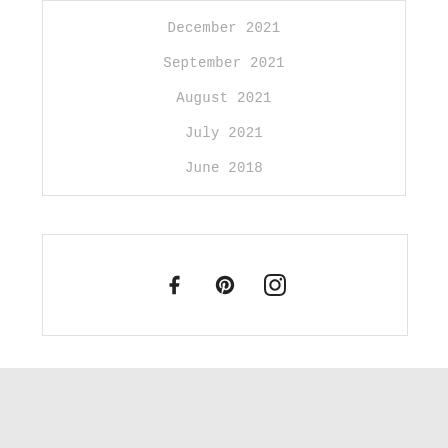December 2021
September 2021
August 2021
July 2021
June 2018
[Figure (other): Social media icons: Facebook, Pinterest, Instagram]